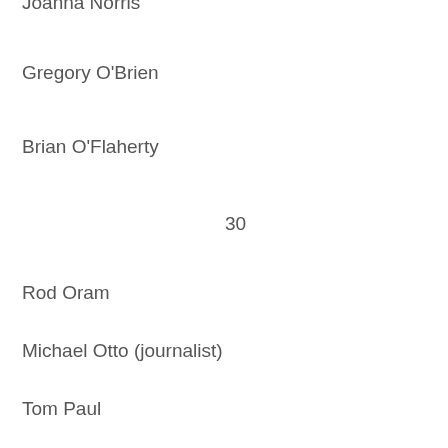Joanna Norris
Gregory O'Brien
Brian O'Flaherty
30
Rod Oram
Michael Otto (journalist)
Tom Paul
Jesse Peach
Nick Perry (journalist)
Noel Pharazyn